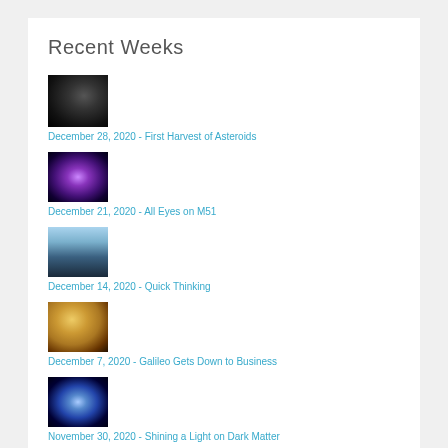Recent Weeks
[Figure (photo): Grayscale image of asteroid surface]
December 28, 2020 - First Harvest of Asteroids
[Figure (photo): Purple spiral galaxy M51]
December 21, 2020 - All Eyes on M51
[Figure (photo): Spacecraft in space]
December 14, 2020 - Quick Thinking
[Figure (photo): Planet with orange/yellow surface]
December 7, 2020 - Galileo Gets Down to Business
[Figure (photo): Blue star cluster on dark background]
November 30, 2020 - Shining a Light on Dark Matter